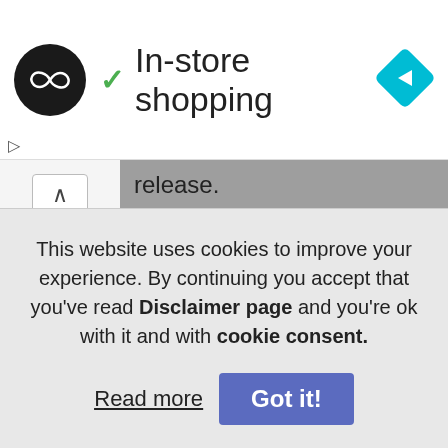[Figure (logo): Black circle with infinity-like double loop logo icon]
✓ In-store shopping
[Figure (logo): Blue diamond navigation arrow icon]
release.
If you already downloaded, make sure you read included release note.txt file which often contains more details and instructions.
Comment language: English or Italian only
REQUEST a new portable/plugin?
This website uses cookies to improve your experience. By continuing you accept that you've read Disclaimer page and you're ok with it and with cookie consent.
Read more   Got it!